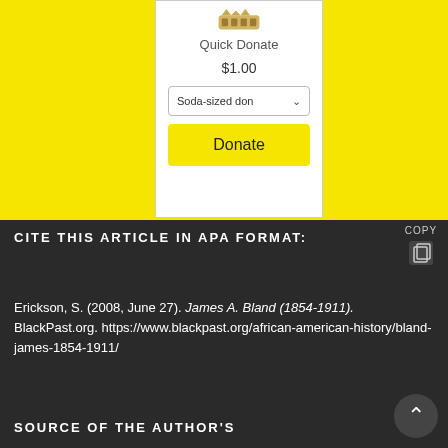[Figure (screenshot): Quick Donate widget with yellow background, showing a donation icon, 'Quick Donate' label, '$1.00' amount, 'Soda-sized don' dropdown selector, and a yellow 'Donate' button]
CITE THIS ARTICLE IN APA FORMAT:
Erickson, S. (2008, June 27). James A. Bland (1854-1911). BlackPast.org. https://www.blackpast.org/african-american-history/bland-james-1854-1911/
SOURCE OF THE AUTHOR'S